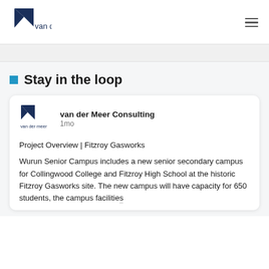van der meer
Stay in the loop
[Figure (logo): van der Meer Consulting logo - small version inside card]
van der Meer Consulting
1mo
Project Overview | Fitzroy Gasworks
Wurun Senior Campus includes a new senior secondary campus for Collingwood College and Fitzroy High School at the historic Fitzroy Gasworks site. The new campus will have capacity for 650 students, the campus facilities